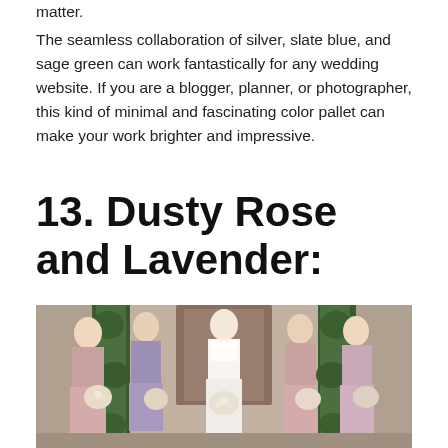matter.
The seamless collaboration of silver, slate blue, and sage green can work fantastically for any wedding website. If you are a blogger, planner, or photographer, this kind of minimal and fascinating color pallet can make your work brighter and impressive.
13. Dusty Rose and Lavender:
[Figure (photo): Five women standing in front of a stone building with ivy, four bridesmaids in dusty rose and lavender dresses holding bouquets, and one bride in white lace dress in the center.]